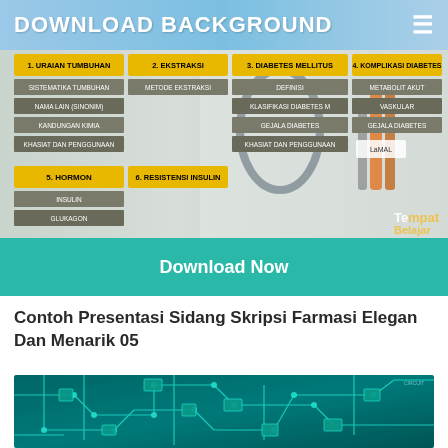DOWNLOAD BACKGROUND
[Figure (screenshot): Pharmacy thesis presentation slide with medical background showing sections: 1. Uraian Tumbuhan, 2. Ekstraksi, 3. Diabetes Mellitus, 4. Komplikasi Diabetes, 5. Hormon, 6. Resistensi Insulin with doctor/stethoscope background image and TempetBelajar watermark]
Download Now
Contoh Presentasi Sidang Skripsi Farmasi Elegan Dan Menarik 05
[Figure (photo): Green circuit board background image]